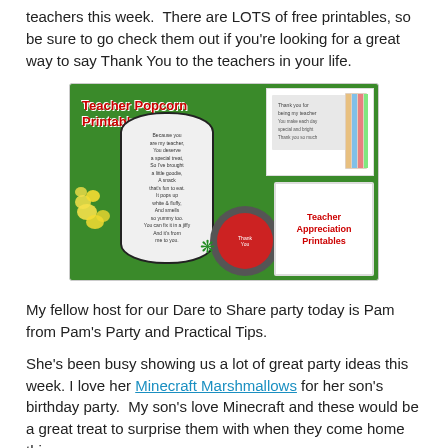teachers this week. There are LOTS of free printables, so be sure to go check them out if you're looking for a great way to say Thank You to the teachers in your life.
[Figure (photo): Teacher Popcorn Printable Gift image showing a popcorn cylinder with poem, printable cards, and a 'Teacher Appreciation Printables' box on a green background]
My fellow host for our Dare to Share party today is Pam from Pam's Party and Practical Tips.
She's been busy showing us a lot of great party ideas this week. I love her Minecraft Marshmallows for her son's birthday party. My son's love Minecraft and these would be a great treat to surprise them with when they come home this